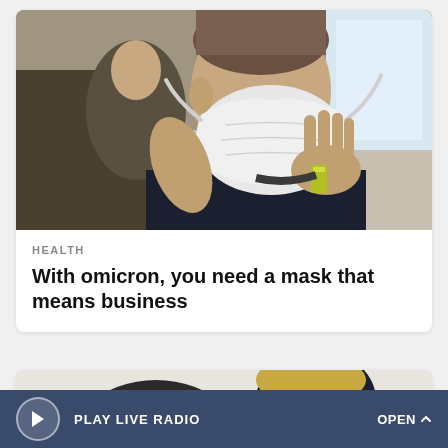[Figure (photo): A man putting on a white face mask, wearing a dark polo shirt with a radio/device clipped to it, inside what appears to be a store or office setting.]
HEALTH
With omicron, you need a mask that means business
[Figure (photo): Partial view of people from behind, one wearing a dark cap with letter M visible.]
PLAY LIVE RADIO
OPEN ^